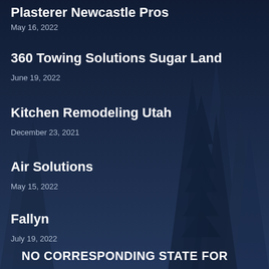Plasterer Newcastle Pros
May 16, 2022
360 Towing Solutions Sugar Land
June 19, 2022
Kitchen Remodeling Utah
December 23, 2021
Air Solutions
May 15, 2022
Fallyn
July 19, 2022
NO CORRESPONDING STATE FOR